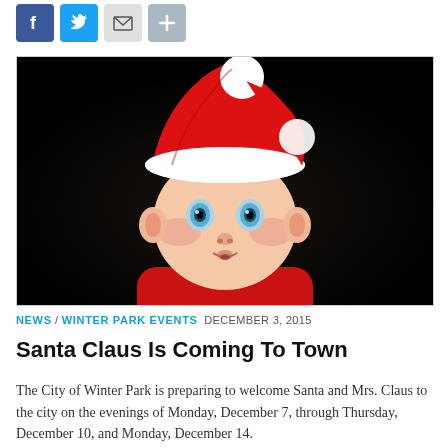[Figure (other): Social media sharing icons: Facebook (blue), Twitter (light blue), Email (grey envelope), Plus/Share (grey)]
[Figure (photo): A baby wearing a red and white Santa Claus hat, with big blue eyes and rosy cheeks, looking upward against a dark background.]
NEWS / WINTER PARK EVENTS  DECEMBER 3, 2015
Santa Claus Is Coming To Town
The City of Winter Park is preparing to welcome Santa and Mrs. Claus to the city on the evenings of Monday, December 7, through Thursday, December 10, and Monday, December 14.